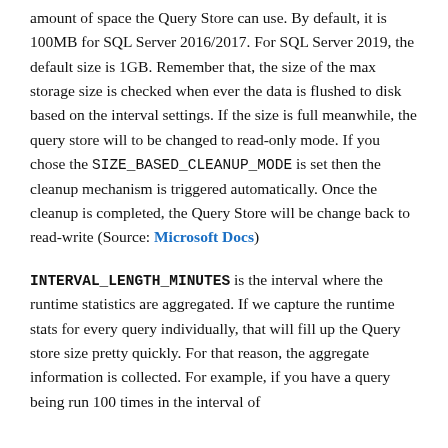amount of space the Query Store can use. By default, it is 100MB for SQL Server 2016/2017. For SQL Server 2019, the default size is 1GB. Remember that, the size of the max storage size is checked when ever the data is flushed to disk based on the interval settings. If the size is full meanwhile, the query store will to be changed to read-only mode. If you chose the SIZE_BASED_CLEANUP_MODE is set then the cleanup mechanism is triggered automatically. Once the cleanup is completed, the Query Store will be change back to read-write (Source: Microsoft Docs)
INTERVAL_LENGTH_MINUTES is the interval where the runtime statistics are aggregated. If we capture the runtime stats for every query individually, that will fill up the Query store size pretty quickly. For that reason, the aggregate information is collected. For example, if you have a query being run 100 times in the interval of